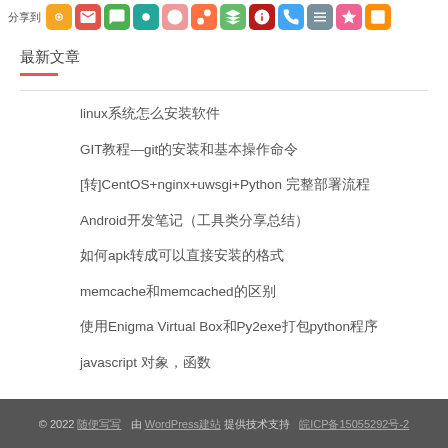[Figure (other): Row of social media sharing icon buttons in various colors (orange, red, green, blue, etc.) with Chinese label on left]
最新文章
linux系统怎么安装软件
GIT教程—git的安装和基本操作命令
[转]CentOS+nginx+uwsgi+Python 完整部署流程
Android开发笔记（工具类分享总结）
如何apk转成可以直接安装的格式
memcache和memcached的区别
使用Enigma Virtual Box和Py2exe打包python程序
javascript 对象，函数
© 2022 随便写写   由 WordPress建站 提供技术支持   皖ICP备15055292号-2